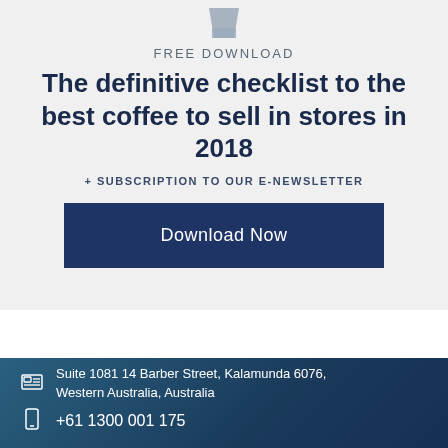[Figure (illustration): Partial product image at top of section - appears to be a coffee-related product]
FREE DOWNLOAD
The definitive checklist to the best coffee to sell in stores in 2018
+ SUBSCRIPTION TO OUR E-NEWSLETTER
Download Now
Suite 1081 14 Barber Street, Kalamunda 6076, Western Australia, Australia
+61 1300 001 175